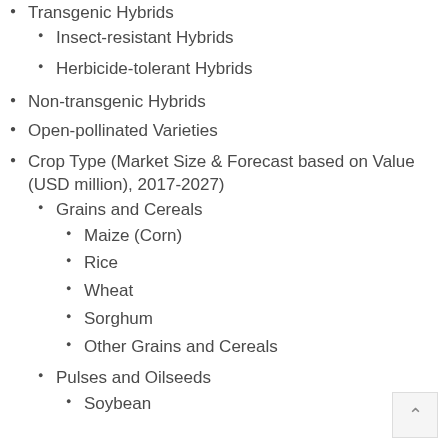Transgenic Hybrids
Insect-resistant Hybrids
Herbicide-tolerant Hybrids
Non-transgenic Hybrids
Open-pollinated Varieties
Crop Type (Market Size & Forecast based on Value (USD million), 2017-2027)
Grains and Cereals
Maize (Corn)
Rice
Wheat
Sorghum
Other Grains and Cereals
Pulses and Oilseeds
Soybean